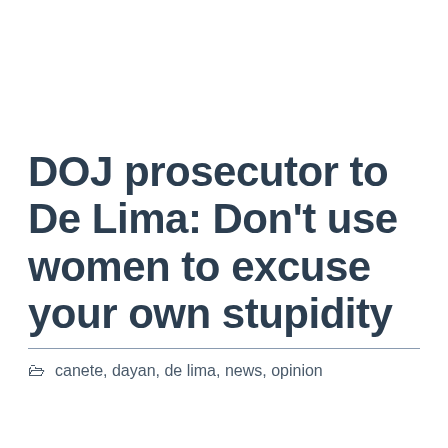DOJ prosecutor to De Lima: Don't use women to excuse your own stupidity
canete, dayan, de lima, news, opinion